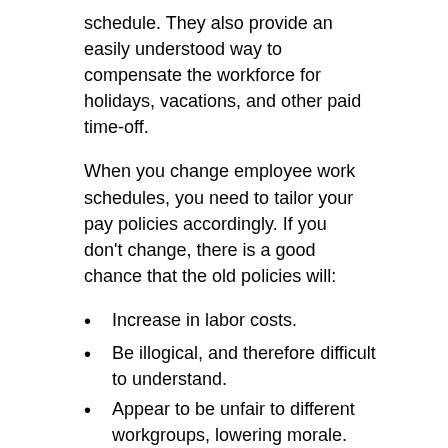schedule. They also provide an easily understood way to compensate the workforce for holidays, vacations, and other paid time-off.
When you change employee work schedules, you need to tailor your pay policies accordingly. If you don't change, there is a good chance that the old policies will:
Increase in labor costs.
Be illogical, and therefore difficult to understand.
Appear to be unfair to different workgroups, lowering morale.
Create situations that take pay away from employees, and give them extra pay in others, usually resulting in even lower morale.